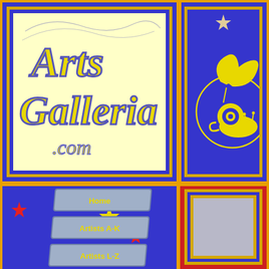[Figure (logo): Arts Galleria .com logo in yellow italic script with blue stroke on cream background, inside gold-bordered blue frame]
[Figure (illustration): Yellow snail with leaf/plant design inside circle on blue background with gold star, inside gold-bordered blue frame]
[Figure (screenshot): Blue navigation panel with navy/silver buttons labeled Home, Artists A-K, Artists L-Z, Galleria A-Z with colored stars decoration]
[Figure (other): Gray/silver blank panel inside red and gold bordered frame]